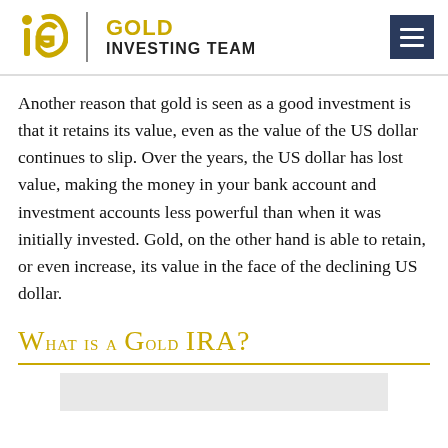GOLD INVESTING TEAM
Another reason that gold is seen as a good investment is that it retains its value, even as the value of the US dollar continues to slip. Over the years, the US dollar has lost value, making the money in your bank account and investment accounts less powerful than when it was initially invested. Gold, on the other hand is able to retain, or even increase, its value in the face of the declining US dollar.
What is a Gold IRA?